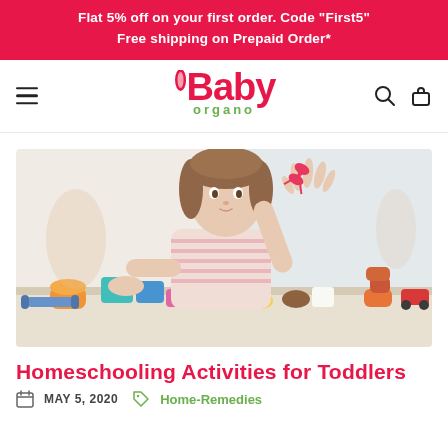Flat 5% off on your first order. Code "First5"
Free shipping on Prepaid Order*
[Figure (logo): Baby Organo logo with pink bunny ear and red 'Baby' text and green 'organo' text below]
[Figure (photo): Young toddler girl with brown hair playing with colorful clay/play-doh toys and scissors at a table]
Homeschooling Activities for Toddlers
MAY 5, 2020   Home-Remedies